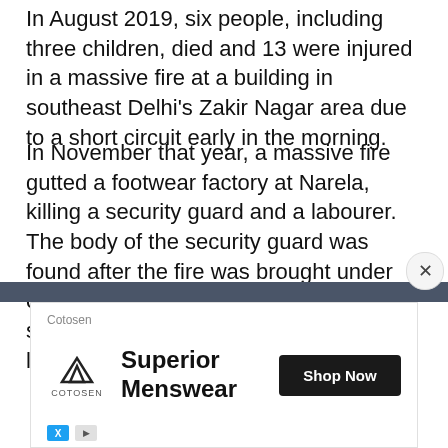In August 2019, six people, including three children, died and 13 were injured in a massive fire at a building in southeast Delhi's Zakir Nagar area due to a short circuit early in the morning.
In November that year, a massive fire gutted a footwear factory at Narela, killing a security guard and a labourer. The body of the security guard was found after the fire was brought under control, but the charred body of the second victim was recovered four days later.
[Figure (screenshot): Advertisement overlay for Cotosen featuring Superior Menswear with a Shop Now button, close (X) button, and advertiser icons at the bottom.]